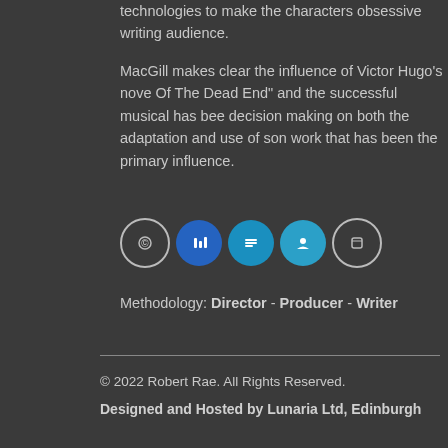technologies to make the characters obsessive writing audience.
MacGill makes clear the influence of Victor Hugo's nove Of The Dead End" and the successful musical has bee decision making on both the adaptation and use of son work that has been the primary influence.
[Figure (infographic): Row of 5 circular icon buttons: first is outline circle with a small symbol, second is solid blue circle with icon, third is solid blue circle with icon, fourth is solid cyan-blue circle with icon, fifth is outline circle with icon]
Methodology: Director - Producer - Writer
© 2022 Robert Rae. All Rights Reserved.
Designed and Hosted by Lunaria Ltd, Edinburgh